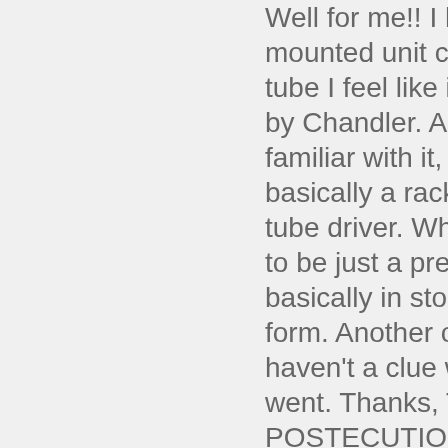Well for me!! I had a rack mounted unit called a real tube I feel like it was made by Chandler. Are you familiar with it, and isn't it basically a rack mounted tube driver. Which seems to be just a preamp basically in stompbox form. Another one I haven't a clue where it went. Thanks, THE POSTECUTIONER
[I haven't played